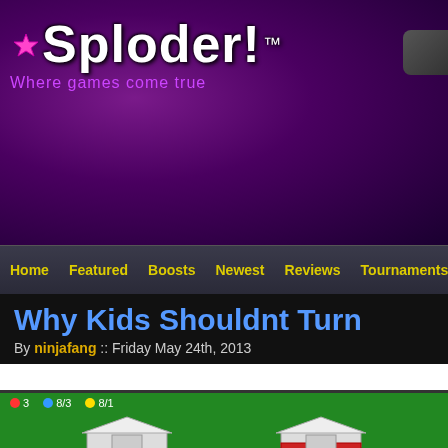[Figure (screenshot): Sploder website header with purple gradient background, Sploder! logo with star emblem and TM mark, tagline 'Where games come true']
Sploder! ™ — Where games come true
Why Kids Shouldnt Turn
By ninjafang :: Friday May 24th, 2013
[Figure (screenshot): Game screenshot showing green background with pixel art houses/buildings, HUD showing red dot 3, blue dot 8/3, yellow dot 8/1]